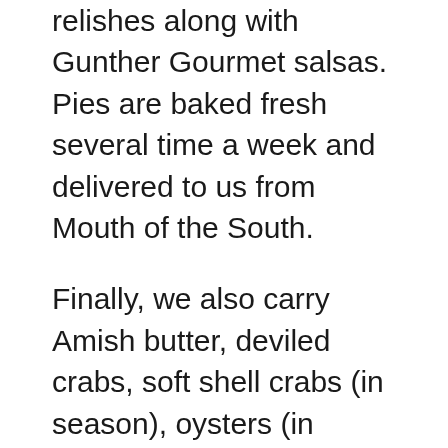relishes along with Gunther Gourmet salsas. Pies are baked fresh several time a week and delivered to us from Mouth of the South.
Finally, we also carry Amish butter, deviled crabs, soft shell crabs (in season), oysters (in season), and a large selection of wine and micro beers.
We celebrate each season here at Norman's Produce. Each year when Fall comes around, we have plenty of colorful Mums, a large selection of pumpkins, and